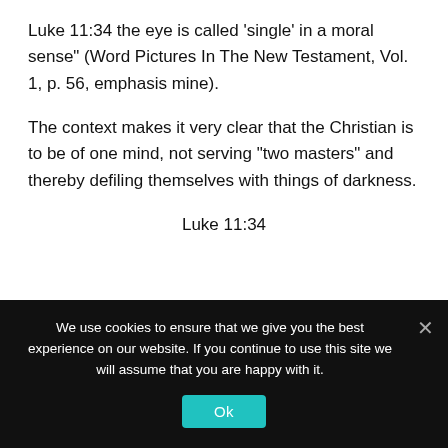Luke 11:34 the eye is called 'single' in a moral sense" (Word Pictures In The New Testament, Vol. 1, p. 56, emphasis mine).
The context makes it very clear that the Christian is to be of one mind, not serving "two masters" and thereby defiling themselves with things of darkness.
Luke 11:34
We use cookies to ensure that we give you the best experience on our website. If you continue to use this site we will assume that you are happy with it.